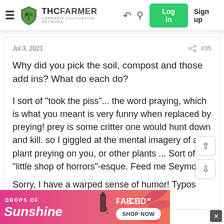THC FARMER — Cannabis Cultivation Network — Log in — Sign up
Jul 3, 2021   #35
Why did you pick the soil, compost and those add ins? What do each do?
I sort of "took the piss"... the word praying, which is what you meant is very funny when replaced by preying! prey is some critter one would hunt down and kill. so I giggled at the mental imagery of a plant preying on you, or other plants ... Sort of "little shop of horrors"-esque. Feed me Seymore!
Sorry, I have a warped sense of humor! Typos happen.
[Figure (screenshot): FAB CBD advertisement banner with 'DROPS OF Sunshine' text and SHOP NOW button]